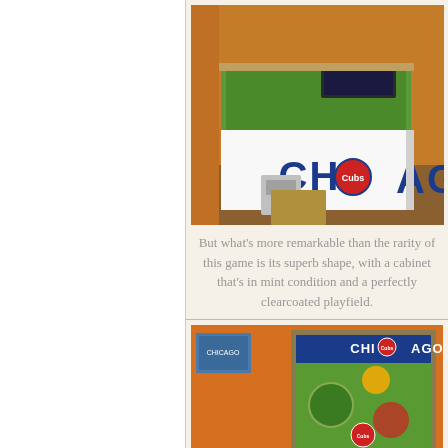[Figure (photo): A Chicago Cubs pinball machine with white cabinet displaying 'CHICAGO' in large blue letters with the Cubs logo. Machine is set against an orange wall background.]
But what's more remarkable than the rarity of this game is its superb shape, with a cabinet that's in mint condition and a perfectly clearcoated playfield.
[Figure (photo): Another view of the Chicago Cubs pinball machine showing the backglass with green playfield graphics and 'CHICAGO' text, set against an orange wall.]